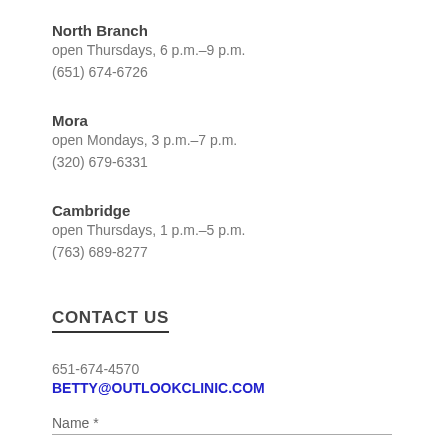North Branch
open Thursdays, 6 p.m.–9 p.m.
(651) 674-6726
Mora
open Mondays, 3 p.m.–7 p.m.
(320) 679-6331
Cambridge
open Thursdays, 1 p.m.–5 p.m.
(763) 689-8277
CONTACT US
651-674-4570
BETTY@OUTLOOKCLINIC.COM
Name *